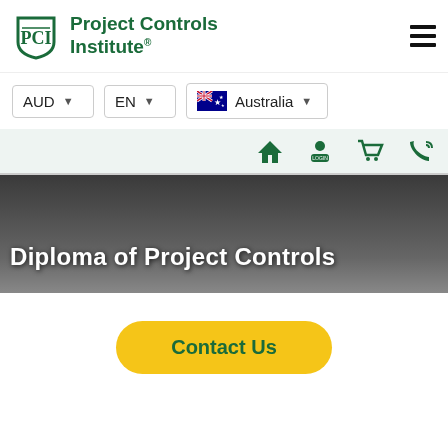Project Controls Institute
[Figure (screenshot): Website navigation screenshot showing AUD, EN, Australia selectors and nav icons]
Diploma of Project Controls
Contact Us